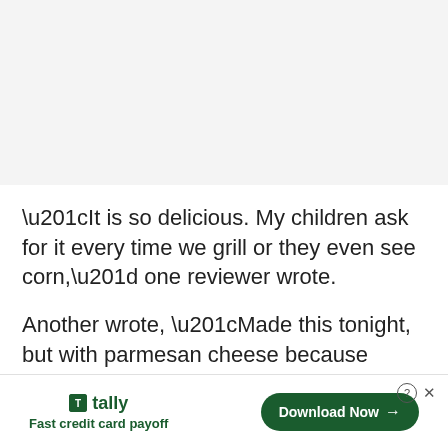“It is so delicious. My children ask for it every time we grill or they even see corn,” one reviewer wrote.
Another wrote, “Made this tonight, but with parmesan cheese because it’s what I had on
[Figure (other): Tally app advertisement banner with logo, tagline 'Fast credit card payoff', and 'Download Now' button]